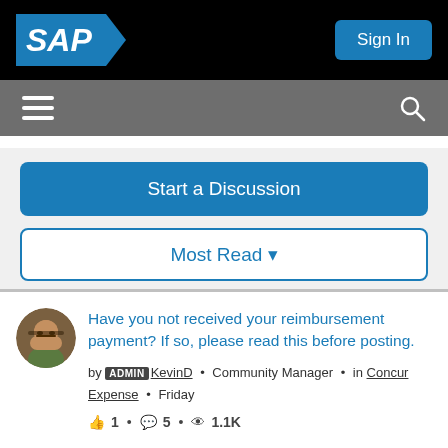SAP | Sign In
[Figure (screenshot): SAP community forum page showing navigation bar, Start a Discussion button, Most Read dropdown, and a pinned post about reimbursement payments]
Start a Discussion
Most Read ▼
Have you not received your reimbursement payment? If so, please read this before posting.
by ADMIN KevinD • Community Manager • in Concur Expense • Friday
👍1 • 💬5 • 👁1.1K